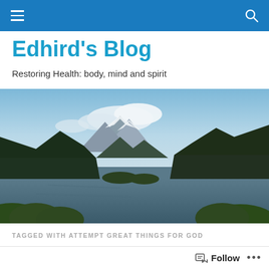≡  🔍
Edhird's Blog
Restoring Health: body, mind and spirit
[Figure (photo): Panoramic landscape photo of a mountain lake with snow-capped peaks in the background, surrounded by dense evergreen forest and green hillsides, with a calm blue-grey lake in the foreground.]
TAGGED WITH ATTEMPT GREAT THINGS FOR GOD
Willi... Care... Educati...